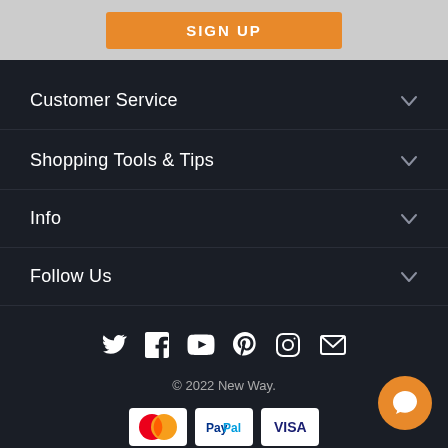[Figure (other): Orange SIGN UP button on grey background]
Customer Service
Shopping Tools & Tips
Info
Follow Us
[Figure (other): Social media icons: Twitter, Facebook, YouTube, Pinterest, Instagram, Email]
© 2022 New Way.
[Figure (other): Payment icons: Mastercard, PayPal, Visa]